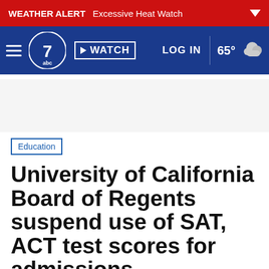WEATHER ALERT Excessive Heat Watch
abc7 WATCH LOG IN 65°
[Figure (logo): ABC7 news logo and navigation bar with hamburger menu, WATCH button, LOG IN link, and weather temperature 65°]
Education
University of California Board of Regents suspend use of SAT, ACT test scores for admissions